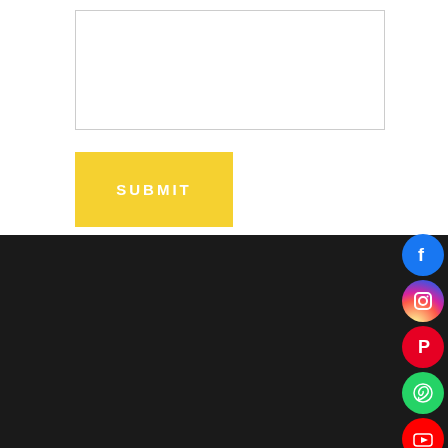[Figure (screenshot): Text input area box (form field)]
[Figure (screenshot): Yellow SUBMIT button]
[Figure (logo): Native's Way logo with leaf icon on dark background]
Start Planning your Trip!
[Figure (infographic): Social media icons: Facebook, Instagram, Pinterest, WhatsApp, YouTube]